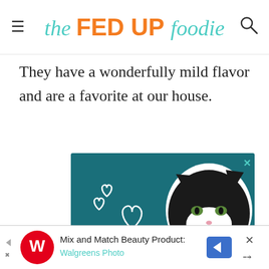the FED UP foodie
They have a wonderfully mild flavor and are a favorite at our house.
[Figure (photo): Advertisement banner with teal background showing a black and white cat face and white heart outlines, with bold white text reading 'BEST FRIENDS FOREVER']
[Figure (photo): Bottom ad bar: Walgreens Photo advertisement — 'Mix and Match Beauty Products' with Walgreens W logo and navigation arrow]